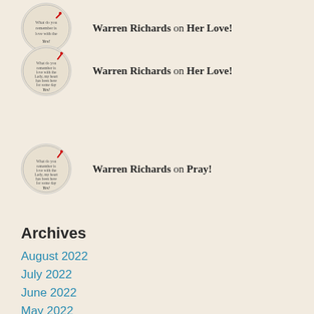Warren Richards on Her Love!
Warren Richards on Pray!
Archives
August 2022
July 2022
June 2022
May 2022
April 2022
March 2022
February 2022